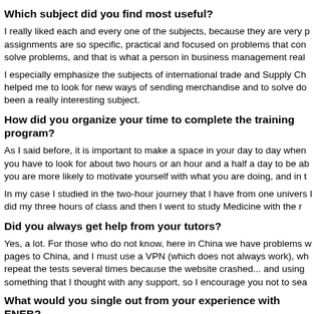Which subject did you find most useful?
I really liked each and every one of the subjects, because they are very p assignments are so specific, practical and focused on problems that con solve problems, and that is what a person in business management real
I especially emphasize the subjects of international trade and Supply Ch helped me to look for new ways of sending merchandise and to solve do been a really interesting subject.
How did you organize your time to complete the training program?
As I said before, it is important to make a space in your day to day when you have to look for about two hours or an hour and a half a day to be ab you are more likely to motivate yourself with what you are doing, and in t
In my case I studied in the two-hour journey that I have from one univers I did my three hours of class and then I went to study Medicine with the r
Did you always get help from your tutors?
Yes, a lot. For those who do not know, here in China we have problems w pages to China, and I must use a VPN (which does not always work), wh repeat the tests several times because the website crashed... and using something that I thought with any support, so I encourage you not to sea
What would you single out from your experience with ENEB?
My experience has been very good. I recommend this master's degree...